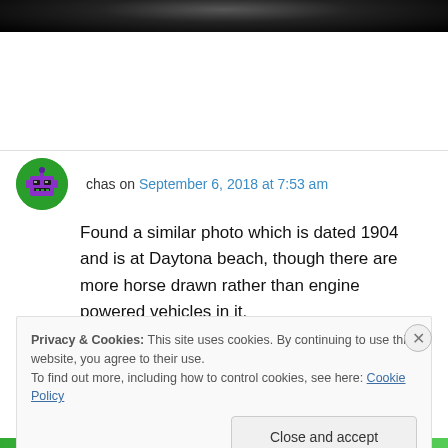[Figure (photo): Partial dark photograph visible at top of page]
chas on September 6, 2018 at 7:53 am
Found a similar photo which is dated 1904 and is at Daytona beach, though there are more horse drawn rather than engine powered vehicles in it.
Privacy & Cookies: This site uses cookies. By continuing to use this website, you agree to their use.
To find out more, including how to control cookies, see here: Cookie Policy